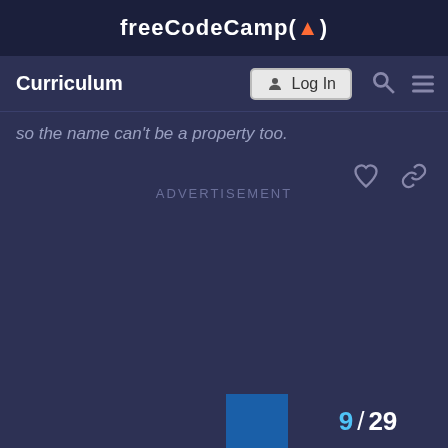freeCodeCamp(🔥)
Curriculum  Log In
so the name can't be a property too.
ADVERTISEMENT
9 / 29